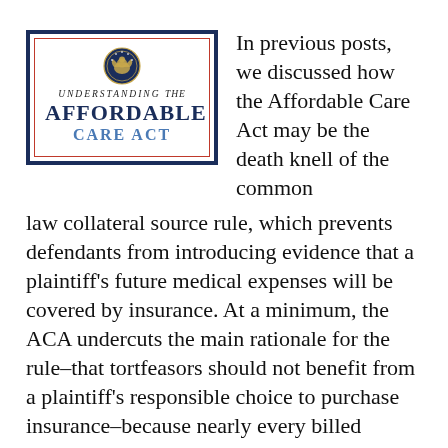[Figure (logo): Logo for 'Understanding the Affordable Care Act' featuring a U.S. House of Representatives seal, with a dark navy blue outer border and a red inner border. Text reads 'UNDERSTANDING the AFFORDABLE CARE ACT' in mixed serif typography.]
In previous posts, we discussed how the Affordable Care Act may be the death knell of the common law collateral source rule, which prevents defendants from introducing evidence that a plaintiff's future medical expenses will be covered by insurance. At a minimum, the ACA undercuts the main rationale for the rule–that tortfeasors should not benefit from a plaintiff's responsible choice to purchase insurance–because nearly every billed